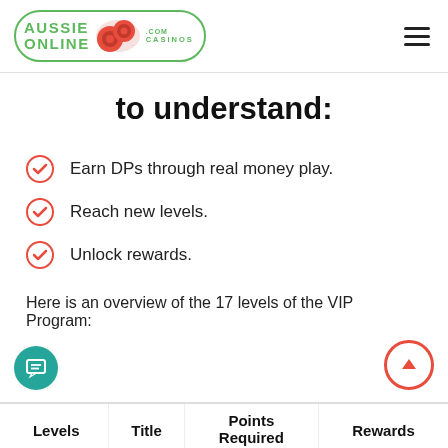Aussie Online Casinos
to understand:
Earn DPs through real money play.
Reach new levels.
Unlock rewards.
Here is an overview of the 17 levels of the VIP Program:
| Levels | Title | Points Required | Rewards |
| --- | --- | --- | --- |